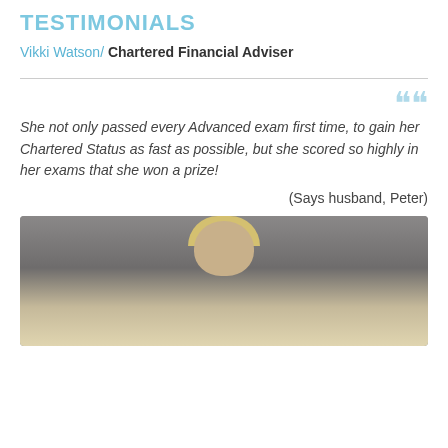TESTIMONIALS
Vikki Watson/ Chartered Financial Adviser
She not only passed every Advanced exam first time, to gain her Chartered Status as fast as possible, but she scored so highly in her exams that she won a prize!
(Says husband, Peter)
[Figure (photo): Photograph of a blonde woman, partially visible, used as a testimonial profile photo]
By continuing to use the site, you agree to the use of cookies. more information Accept